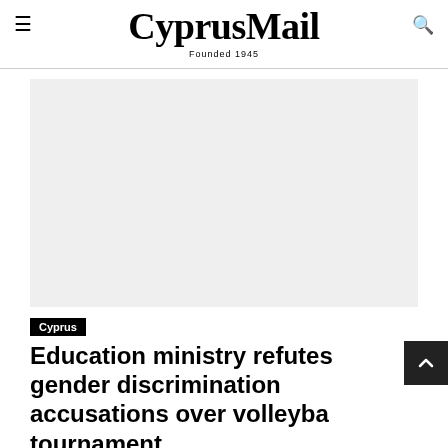CyprusMail — Founded 1945
[Figure (photo): Large image placeholder (light grey rectangle) — article lead image]
Cyprus
Education ministry refutes gender discrimination accusations over volleyball tournament